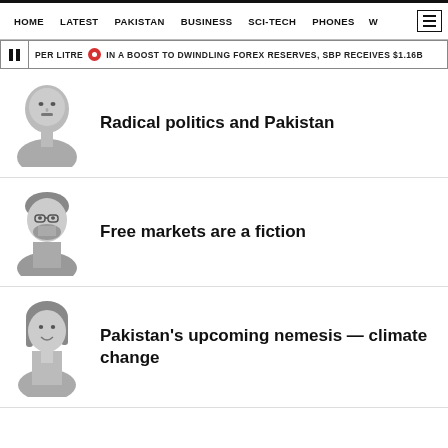HOME  LATEST  PAKISTAN  BUSINESS  SCI-TECH  PHONES  W
PER LITRE  IN A BOOST TO DWINDLING FOREX RESERVES, SBP RECEIVES $1.16B
Radical politics and Pakistan
Free markets are a fiction
Pakistan's upcoming nemesis — climate change